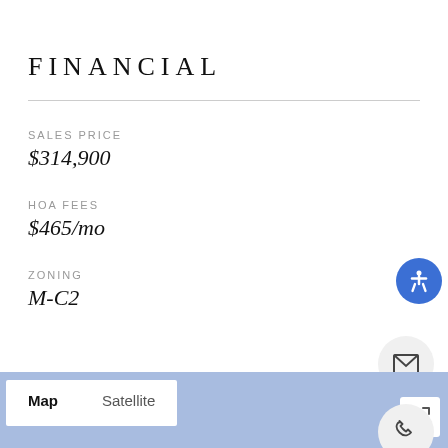FINANCIAL
SALES PRICE
$314,900
HOA FEES
$465/mo
ZONING
M-C2
Map  Satellite